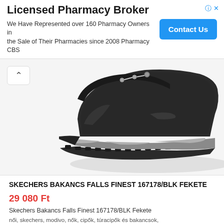Licensed Pharmacy Broker
We Have Represented over 160 Pharmacy Owners in the Sale of Their Pharmacies since 2008 Pharmacy CBS
[Figure (photo): Close-up photo of a black Skechers Falls Finest hiking boot/shoe with grey sole, shown from the side and slightly above, on a white background.]
SKECHERS BAKANCS FALLS FINEST 167178/BLK FEKETE
29 080 Ft
Skechers Bakancs Falls Finest 167178/BLK Fekete
női, skechers, modivo, nők, cipők, túracipők és bakancsok,